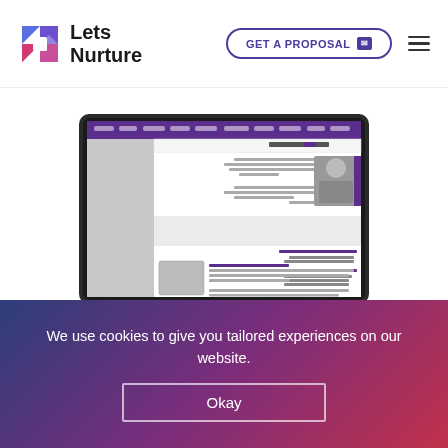[Figure (logo): LetsNurture logo with colorful geometric icon and text]
GET A PROPOSAL
[Figure (screenshot): Screenshot of an Arabic-language news website displayed on a laptop mockup]
We use cookies to give you tailored experiences on our website.
Okay